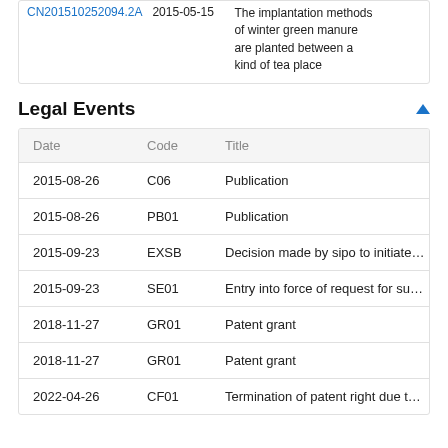|  |  |  |
| --- | --- | --- |
| CN201510252094.2A | 2015-05-15 | The implantation methods of winter green manure are planted between a kind of tea place |
Legal Events
| Date | Code | Title |
| --- | --- | --- |
| 2015-08-26 | C06 | Publication |
| 2015-08-26 | PB01 | Publication |
| 2015-09-23 | EXSB | Decision made by sipo to initiate substantive |
| 2015-09-23 | SE01 | Entry into force of request for substantive exa |
| 2018-11-27 | GR01 | Patent grant |
| 2018-11-27 | GR01 | Patent grant |
| 2022-04-26 | CF01 | Termination of patent right due to non-payme |